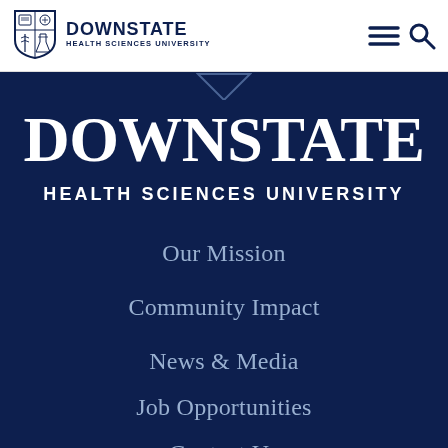[Figure (logo): Downstate Health Sciences University logo with shield emblem in navigation bar]
DOWNSTATE HEALTH SCIENCES UNIVERSITY navigation bar with hamburger menu and search icon
DOWNSTATE
HEALTH SCIENCES UNIVERSITY
Our Mission
Community Impact
News & Media
Job Opportunities
Contact Us